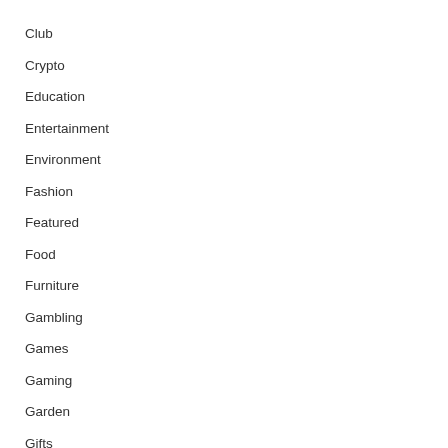Club
Crypto
Education
Entertainment
Environment
Fashion
Featured
Food
Furniture
Gambling
Games
Gaming
Garden
Gifts
Guide